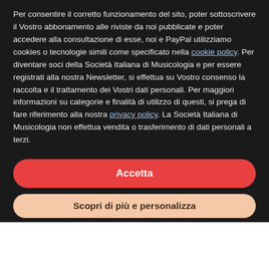Per consentire il corretto funzionamento del sito, poter sottoscrivere il Vostro abbonamento alle riviste da noi pubblicate e poter accedere alla consultazione di esse, noi e PayPal utilizziamo cookies o tecnologie simili come specificato nella cookie policy. Per diventare soci della Società Italiana di Musicologia e per essere registrati alla nostra Newsletter, si effettua su Vostro consenso la raccolta e il trattamento dei Vostri dati personali. Per maggiori informazioni su categorie e finalità di utilizzo di questi, si prega di fare riferimento alla nostra privacy policy. La Società Italiana di Musicologia non effettua vendita o trasferimento di dati personali a terzi.
Accetta
Scopri di più e personalizza
Giulia Nuti, The Performance of Italian Basso Continuo: Style in Keyboard Accompaniment in the Seventeenth and